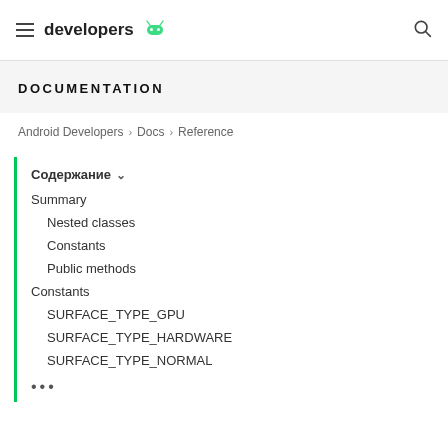developers
DOCUMENTATION
Android Developers > Docs > Reference
Содержание
Summary
Nested classes
Constants
Public methods
Constants
SURFACE_TYPE_GPU
SURFACE_TYPE_HARDWARE
SURFACE_TYPE_NORMAL
•••